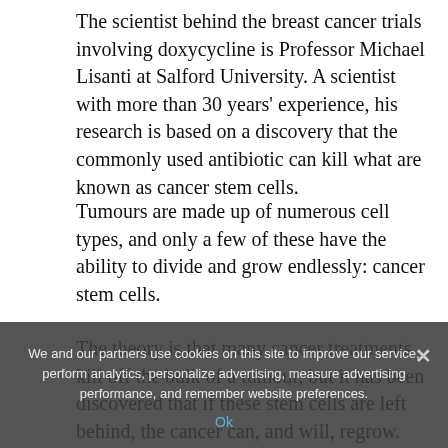The scientist behind the breast cancer trials involving doxycycline is Professor Michael Lisanti at Salford University. A scientist with more than 30 years' experience, his research is based on a discovery that the commonly used antibiotic can kill what are known as cancer stem cells.
Tumours are made up of numerous cell types, and only a few of these have the ability to divide and grow endlessly: cancer stem cells.
The theory is that many cancer treatments kill off the bulk of a tumour, but it has been discovered that if these stem cells are left behind, the cancer can, and will, regrow. Prof Lisanti says: 'Scientists have never targeted cancer in this
We and our partners use cookies on this site to improve our service, perform analytics, personalize advertising, measure advertising performance, and remember website preferences.
Ok